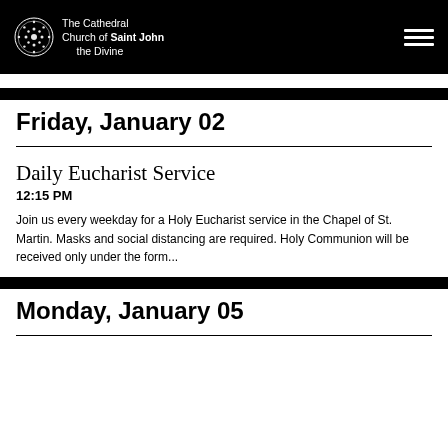The Cathedral Church of Saint John the Divine
Friday, January 02
Daily Eucharist Service
12:15 PM
Join us every weekday for a Holy Eucharist service in the Chapel of St. Martin. Masks and social distancing are required. Holy Communion will be received only under the form...
Monday, January 05